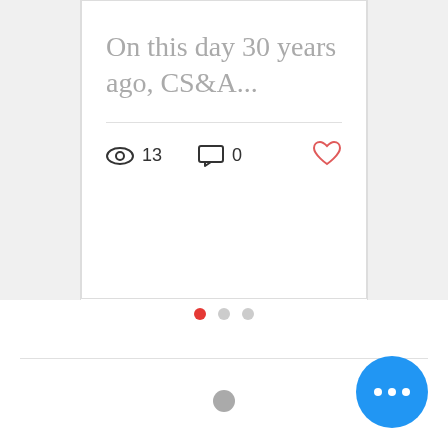[Figure (screenshot): Blog post card showing title 'On this day 30 years ago, CS&A...' with view count 13, comment count 0, and a heart/like icon]
[Figure (infographic): Three carousel pagination dots: one red (active), two gray]
[Figure (infographic): A gray loading spinner dot centered below a horizontal divider]
[Figure (infographic): Blue circular FAB button with three white dots (more options)]